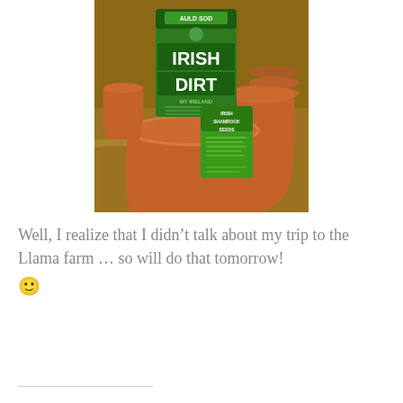[Figure (photo): A bag of 'Auld Sod Irish Dirt' product and a packet of 'Irish Shamrock Seeds' resting on a terracotta clay pot, with additional terracotta pots visible in the background on a dirt surface.]
Well, I realize that I didn't talk about my trip to the Llama farm … so will do that tomorrow! 🙂